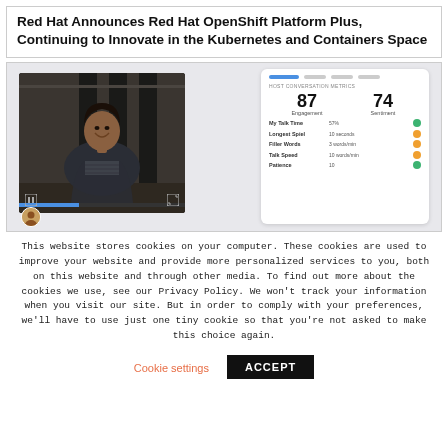Red Hat Announces Red Hat OpenShift Platform Plus, Continuing to Innovate in the Kubernetes and Containers Space
[Figure (screenshot): Screenshot showing a video call interface on the left (a woman smiling, in a jacket, in an office setting) and a conversation metrics dashboard on the right showing Engagement score 87, Sentiment score 74, My Talk Time 57%, Longest Spiel 10 seconds, Filler Words 3 words/min, Talk Speed 10 words/min, Patience 10.]
This website stores cookies on your computer. These cookies are used to improve your website and provide more personalized services to you, both on this website and through other media. To find out more about the cookies we use, see our Privacy Policy. We won't track your information when you visit our site. But in order to comply with your preferences, we'll have to use just one tiny cookie so that you're not asked to make this choice again.
Cookie settings
ACCEPT